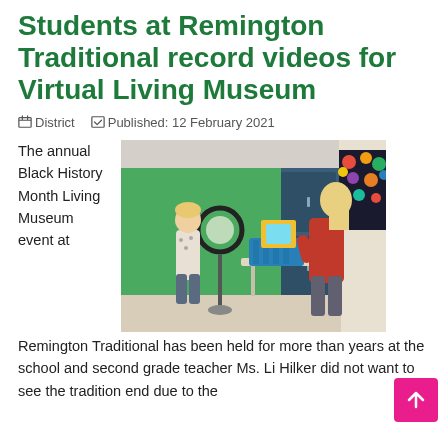Students at Remington Traditional record videos for Virtual Living Museum
District   Published: 12 February 2021
The annual Black History Month Living Museum event at
[Figure (photo): A young student stands in front of a green screen with a ring light on a stand, while a teacher in a red sweater films or directs. Blue lockers and a colorful bulletin board are visible in the background.]
Remington Traditional has been held for more than years at the school and second grade teacher Ms. Li Hilker did not want to see the tradition end due to the